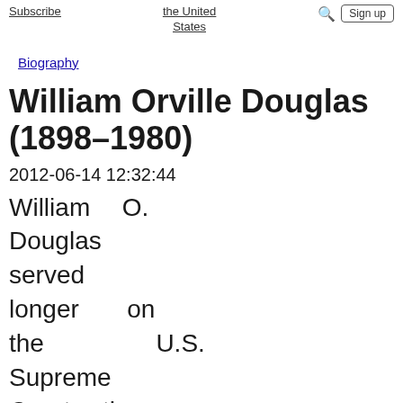Subscribe | the United States | Sign up
Biography
William Orville Douglas (1898–1980)
2012-06-14 12:32:44
William O. Douglas served longer on the U.S. Supreme Court than any other